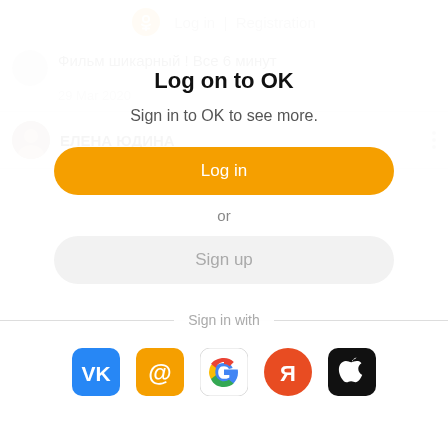Log in | Registration
Фильм шикарный ! Все 6 минут
29 Mar 2020
ЕЛЕНА ЮДИНА
Log on to OK
Sign in to OK to see more.
Log in
or
Sign up
Sign in with
[Figure (logo): Social login icons: VK (blue), Mail.ru (orange @), Google (G), Yandex (red Я), Apple (black apple)]